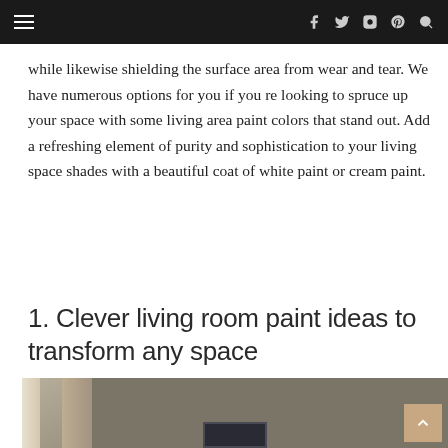Navigation bar with hamburger menu and social icons (f, twitter, instagram, pinterest, search)
while likewise shielding the surface area from wear and tear. We have numerous options for you if you re looking to spruce up your space with some living area paint colors that stand out. Add a refreshing element of purity and sophistication to your living space shades with a beautiful coat of white paint or cream paint.
1. Clever living room paint ideas to transform any space
[Figure (photo): Interior photo of a living room with taupe/olive wall paint, a window with drapes on the left, and a framed artwork partially visible at the bottom center.]